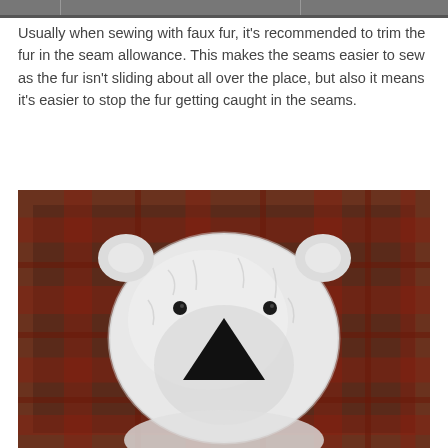[Figure (photo): Partial cropped image at top of page showing faux fur fabric or sewn pieces, cut off at top]
Usually when sewing with faux fur, it's recommended to trim the fur in the seam allowance. This makes the seams easier to sew as the fur isn't sliding about all over the place, but also it means it's easier to stop the fur getting caught in the seams.
[Figure (photo): A white stuffed teddy bear / polar bear plush toy photographed from the front, lying on a red and brown plaid fabric background. The bear has a black triangular nose piece and small round ears.]